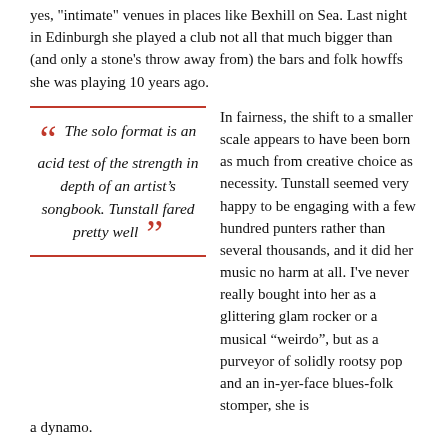yes, "intimate" venues in places like Bexhill on Sea. Last night in Edinburgh she played a club not all that much bigger than (and only a stone's throw away from) the bars and folk howffs she was playing 10 years ago.
The solo format is an acid test of the strength in depth of an artist's songbook. Tunstall fared pretty well
In fairness, the shift to a smaller scale appears to have been born as much from creative choice as necessity. Tunstall seemed very happy to be engaging with a few hundred punters rather than several thousands, and it did her music no harm at all. I've never really bought into her as a glittering glam rocker or a musical "weirdo", but as a purveyor of solidly rootsy pop and an in-yer-face blues-folk stomper, she is a dynamo.
Although last night she was playing solo, Tunstall layered her songs by adding live vocal loops and various rhythms to create the illusion of a small band behind her. It worked well – she's being doing this for years – although on songs like "Hold On" it did also emphasise precisely what wasn't there.
The solo format is an acid test of the strength in depth of an artist's songbook. On this score Tunstall fared pretty well. The soulful, atmospheric "Other Side of the World", the Celtic Bo Diddley beat of